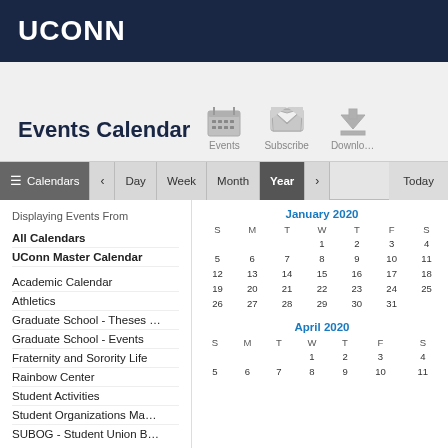UCONN
Events Calendar
[Figure (screenshot): Toolbar icons: calendar/Events icon, envelope/Subscribe icon, download icon]
Calendars  <  Day  Week  Month  Year  >  Today
Displaying Events From
All Calendars
UConn Master Calendar
Academic Calendar
Athletics
Graduate School - Theses …
Graduate School - Events
Fraternity and Sorority Life
Rainbow Center
Student Activities
Student Organizations Ma…
SUBOG - Student Union B…
[Figure (table-as-image): January 2020 calendar grid showing dates 1–31 in a standard monthly calendar layout with S M T W T F S headers]
[Figure (table-as-image): April 2020 calendar grid showing dates 1–11 visible, with S M T W T F S headers]